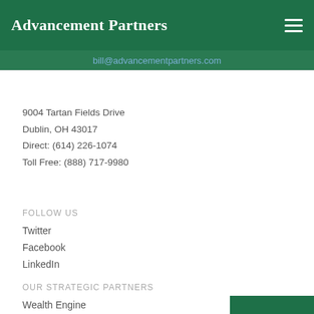Advancement Partners
bill@advancementpartners.com
9004 Tartan Fields Drive
Dublin, OH 43017
Direct: (614) 226-1074
Toll Free: (888) 717-9980
FOLLOW US
Twitter
Facebook
LinkedIn
OUR STRATEGIC PARTNERS
Wealth Engine
On-Target Design